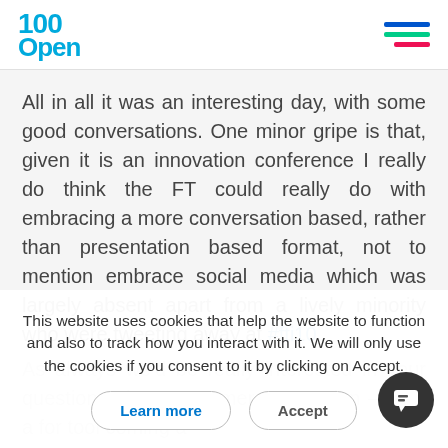100Open
All in all it was an interesting day, with some good conversations. One minor gripe is that, given it is an innovation conference I really do think the FT could really do with embracing a more conversation based, rather than presentation based format, not to mention embrace social media which was largely absent apart from a lively minority who were tweeting away at #fti10.
This website uses cookies that help the website to function and also to track how you interact with it. We will only use the cookies if you consent to it by clicking on Accept.